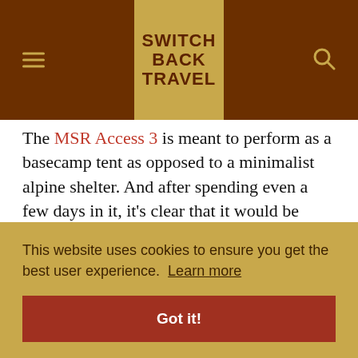SWITCH BACK TRAVEL
The MSR Access 3 is meant to perform as a basecamp tent as opposed to a minimalist alpine shelter. And after spending even a few days in it, it's clear that it would be comfortable even while waiting out inclement weather. With 41 square feet of interior space and a height of 47 inches, the three-person version of the Access is ... Admittedly ... have ... ill ... large ... person ... son, 4- ... result of ... skimping on interior space.
This website uses cookies to ensure you get the best user experience. Learn more
Got it!